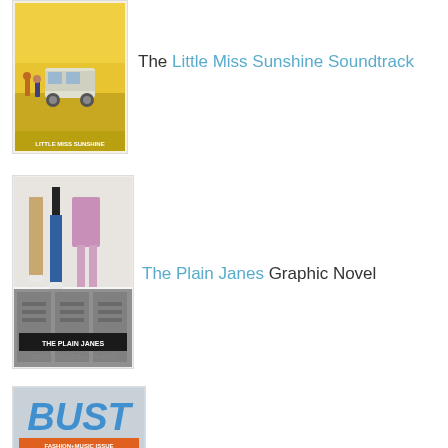[Figure (photo): Book/album cover for Little Miss Sunshine Soundtrack — yellow cover with running figures and a van]
The Little Miss Sunshine Soundtrack
[Figure (photo): Book cover for The Plain Janes Graphic Novel — showing legs of teenagers standing in front of school lockers]
The Plain Janes Graphic Novel
[Figure (photo): Magazine cover for BUST — Fashion & Music Issue]